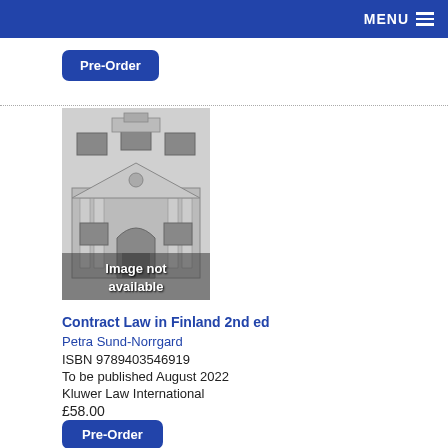MENU
Pre-Order
[Figure (illustration): Book cover placeholder showing a classical building facade with 'Image not available' text overlay]
Contract Law in Finland 2nd ed
Petra Sund-Norrgard
ISBN 9789403546919
To be published August 2022
Kluwer Law International
£58.00
Pre-Order